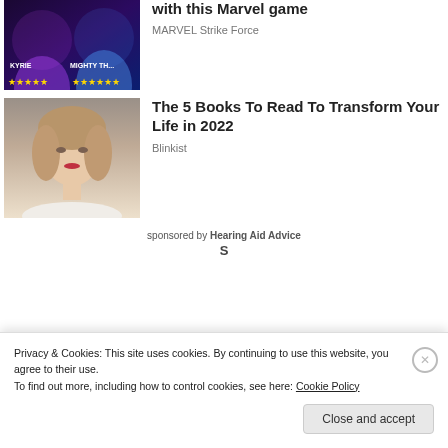[Figure (photo): Marvel Strike Force game advertisement thumbnail with superhero characters (Valkyrie, Mighty Thor) and star ratings on dark background]
with this Marvel game
MARVEL Strike Force
[Figure (photo): Portrait photo of a young blonde woman in white clothing against a grey background]
The 5 Books To Read To Transform Your Life in 2022
Blinkist
sponsored by Hearing Aid Advice
Privacy & Cookies: This site uses cookies. By continuing to use this website, you agree to their use.
To find out more, including how to control cookies, see here: Cookie Policy
Close and accept